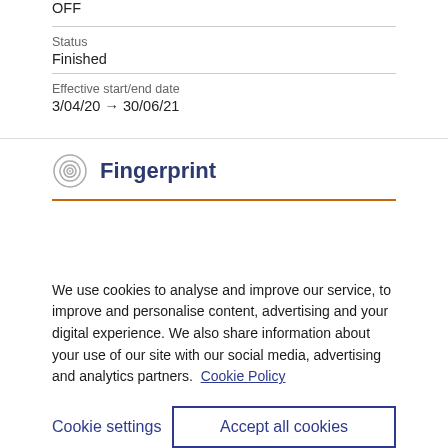OFF
Status
Finished
Effective start/end date
3/04/20 → 30/06/21
Fingerprint
We use cookies to analyse and improve our service, to improve and personalise content, advertising and your digital experience. We also share information about your use of our site with our social media, advertising and analytics partners.  Cookie Policy
Cookie settings
Accept all cookies